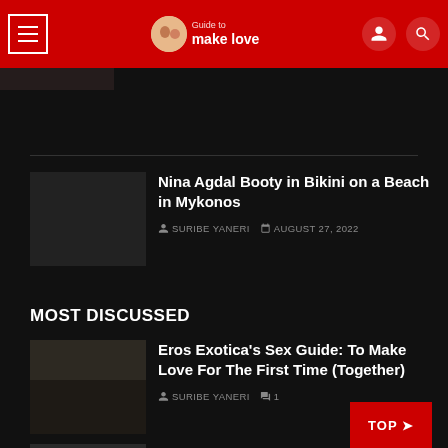Guide to make love
[Figure (photo): Thumbnail image top-left partially visible]
Nina Agdal Booty in Bikini on a Beach in Mykonos
SURIBE YANERI   AUGUST 27, 2022
MOST DISCUSSED
[Figure (photo): Dark thumbnail image for article]
Eros Exotica’s Sex Guide: To Make Love For The First Time (Together)
SURIBE YANERI   1
[Figure (photo): Dark thumbnail image partially visible at bottom]
[VIDEO] The Lover’s Sex Guide: 102 Love